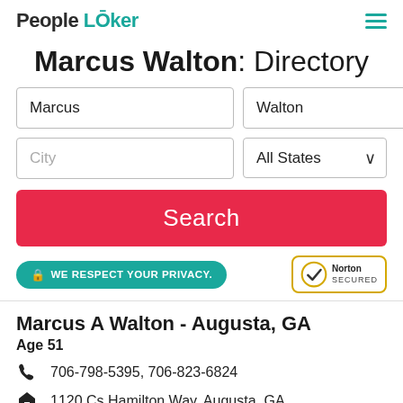PeopleLooker
Marcus Walton: Directory
Marcus | Walton | City | All States | Search
WE RESPECT YOUR PRIVACY. | Norton SECURED
Marcus A Walton - Augusta, GA
Age 51
706-798-5395, 706-823-6824
1120 Cs Hamilton Way, Augusta, GA
@gmail.com